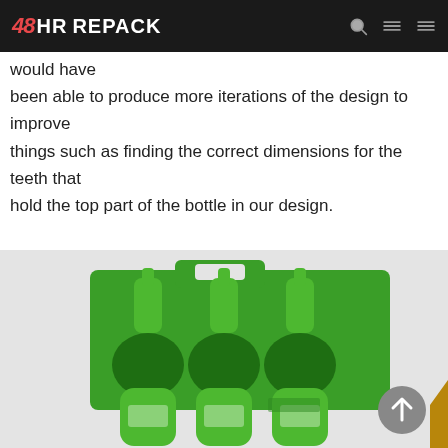48HR REPACK
would have been able to produce more iterations of the design to improve things such as finding the correct dimensions for the teeth that hold the top part of the bottle in our design.
[Figure (photo): Green bottle carrier/repack product holding multiple green Sprite bottles, shown on a light grey background. A circular scroll-up button is visible in the lower right.]